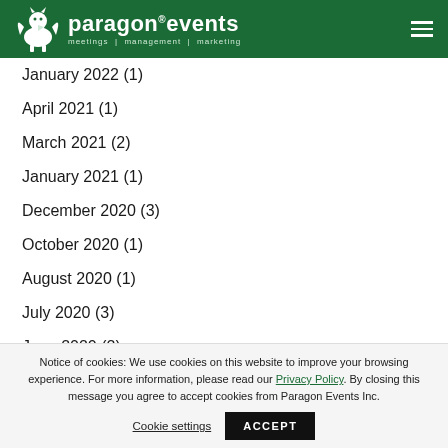paragon events — meetings | management | marketing
January 2022 (1)
April 2021 (1)
March 2021 (2)
January 2021 (1)
December 2020 (3)
October 2020 (1)
August 2020 (1)
July 2020 (3)
June 2020 (2)
May 2020 (2)
April 2020 (3)
Notice of cookies: We use cookies on this website to improve your browsing experience. For more information, please read our Privacy Policy. By closing this message you agree to accept cookies from Paragon Events Inc. Cookie settings ACCEPT